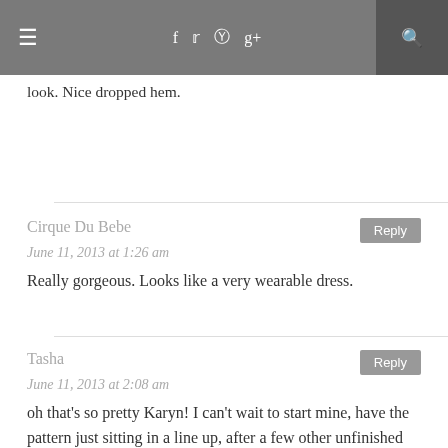≡  f  t  p  g+  🔍
Lovely! I am a shirring girl myself, hate look. Nice dropped hem.
Cirque Du Bebe
June 11, 2013 at 1:26 am
Really gorgeous. Looks like a very wearable dress.
Tasha
June 11, 2013 at 2:08 am
oh that's so pretty Karyn! I can't wait to start mine, have the pattern just sitting in a line up, after a few other unfinished projects...